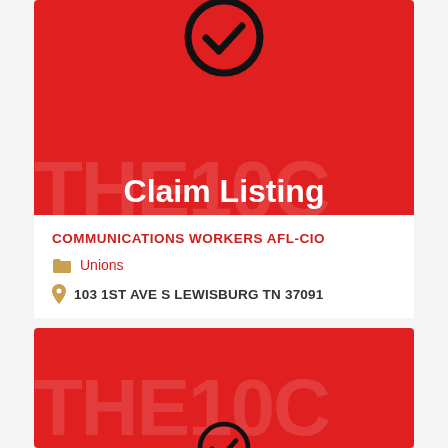[Figure (illustration): Red banner card with a checkmark icon at the top and bold white text reading 'Claim Listing', with faint background lettering]
Claim Listing
COMMUNICATIONS WORKERS AFL-CIO
Unions
103 1ST AVE S LEWISBURG TN 37091
[Figure (illustration): Second red banner card partially visible at the bottom with faint background lettering and a partial circular checkmark icon]